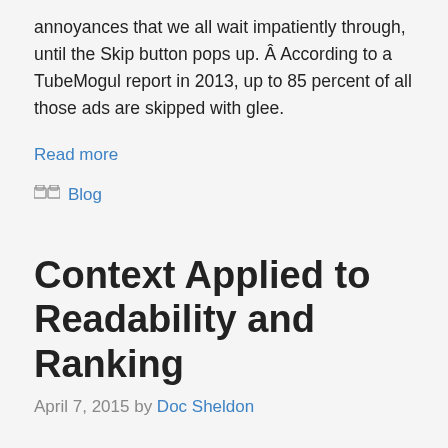annoyances that we all wait impatiently through, until the Skip button pops up. Â According to a TubeMogul report in 2013, up to 85 percent of all those ads are skipped with glee.
Read more
Blog
Context Applied to Readability and Ranking
April 7, 2015 by Doc Sheldon